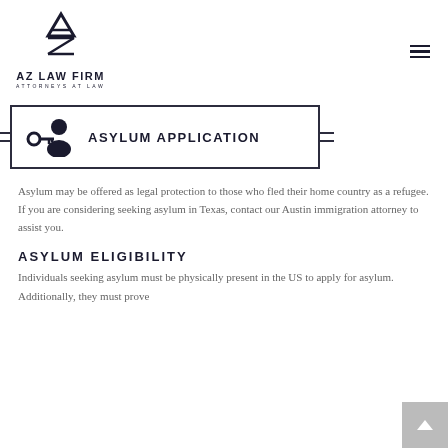[Figure (logo): AZ Law Firm logo with geometric A-Z monogram icon, text AZ LAW FIRM and ATTORNEYS AT LAW]
[Figure (illustration): Hamburger menu icon (three horizontal lines)]
ASYLUM APPLICATION
Asylum may be offered as legal protection to those who fled their home country as a refugee. If you are considering seeking asylum in Texas, contact our Austin immigration attorney to assist you.
ASYLUM ELIGIBILITY
Individuals seeking asylum must be physically present in the US to apply for asylum. Additionally, they must prove